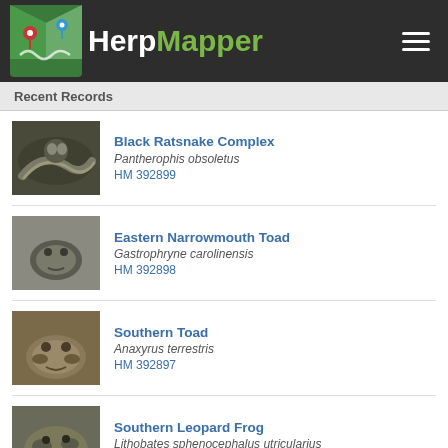HerpMapper
Recent Records
Black Ratsnake Complex | Pantherophis obsoletus | HM 392899
Eastern Narrowmouth Toad | Gastrophryne carolinensis | HM 392898
Southern Toad | Anaxyrus terrestris | HM 392897
Southern Leopard Frog | Lithobates sphenocephalus utricularius | HM 392896
Cope's Gray Treefrog | Dryophytes chrysoscelis | HM 392895